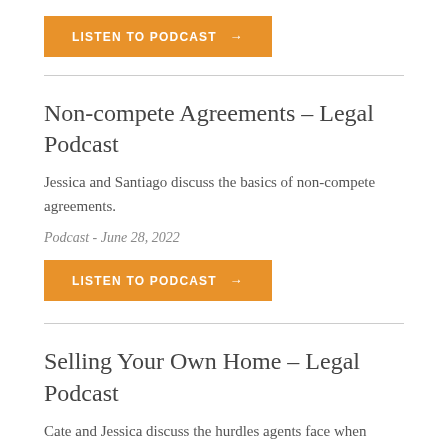[Figure (other): Orange 'LISTEN TO PODCAST →' button at top]
Non-compete Agreements – Legal Podcast
Jessica and Santiago discuss the basics of non-compete agreements.
Podcast - June 28, 2022
[Figure (other): Orange 'LISTEN TO PODCAST →' button]
Selling Your Own Home – Legal Podcast
Cate and Jessica discuss the hurdles agents face when selling their own property.